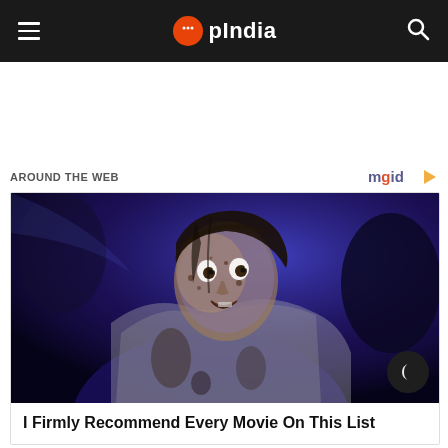OpIndia
AROUND THE WEB
[Figure (photo): Horror movie still: a woman with a frightened expression, face covered in dirt and blood, illuminated by blue light, wearing a dirty white jacket. Dark background.]
I Firmly Recommend Every Movie On This List